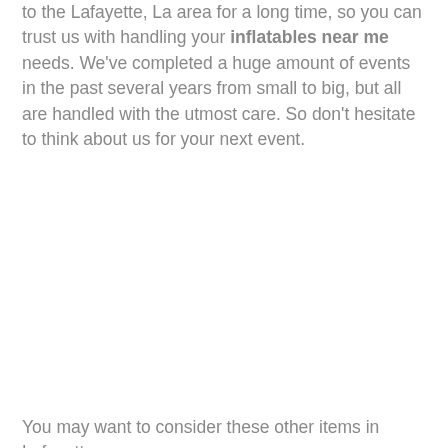to the Lafayette, La area for a long time, so you can trust us with handling your inflatables near me needs. We've completed a huge amount of events in the past several years from small to big, but all are handled with the utmost care. So don't hesitate to think about us for your next event.
You may want to consider these other items in Lafayette,